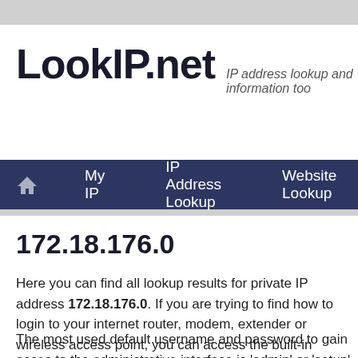LookIP.net — IP address lookup and information too
Home | My IP | IP Address Lookup | Website Lookup
172.18.176.0
Here you can find all lookup results for private IP address 172.18.176.0. If you are trying to find how to login to your internet router, modem, extender or wireless access point, you can access the built-in HTML webpage by clicking the following link for http or https.
The most used default username and password to gain access to the administrative interface is 'admin' or 'setup' and in case of a TP Link, Netgear or D-Link wireless (or Wi-Fi) router you can also find the default settings on the back of the device. If